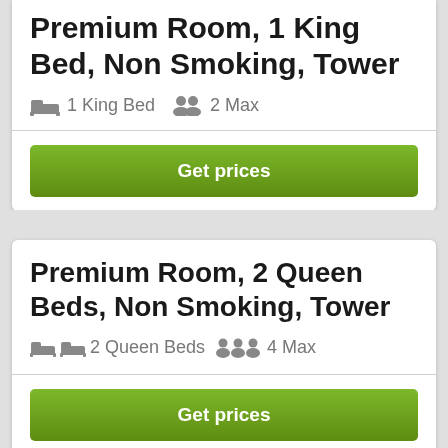Premium Room, 1 King Bed, Non Smoking, Tower
1 King Bed   2 Max
Get prices
Premium Room, 2 Queen Beds, Non Smoking, Tower
2 Queen Beds   4 Max
Get prices